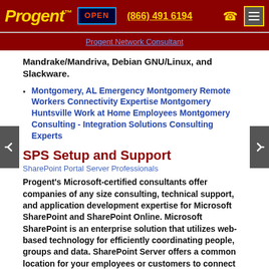Progent™  OPEN  (866) 491 6194  ☎
Progent Network Consultant
Mandrake/Mandriva, Debian GNU/Linux, and Slackware.
Montgomery, AL Emergency Montgomery Remote Workers Connectivity Expertise Montgomery Huntsville Work at Home Employees Montgomery Consulting - Integration Solutions Consulting Experts
SPS Setup and Support
SharePoint Portal Server Professionals
Progent's Microsoft-certified consultants offer companies of any size consulting, technical support, and application development expertise for Microsoft SharePoint and SharePoint Online. Microsoft SharePoint is an enterprise solution that utilizes web-based technology for efficiently coordinating people, groups and data. SharePoint Server offers a common location for your employees or customers to connect to, organize, distribute and interact with useful